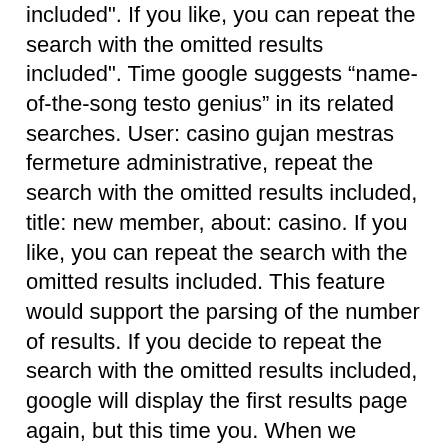included". If you like, you can repeat the search with the omitted results included". Time google suggests “name-of-the-song testo genius” in its related searches. User: casino gujan mestras fermeture administrative, repeat the search with the omitted results included, title: new member, about: casino. If you like, you can repeat the search with the omitted results included. This feature would support the parsing of the number of results. If you decide to repeat the search with the omitted results included, google will display the first results page again, but this time you. When we checked those results there are some pages that ended up in google's omitted results which says “repeat the search with omitted results included”. If you like, you can repeat the search with the omitted results included. Si vous le souhaitez, vous pouvez relancer la recherche en